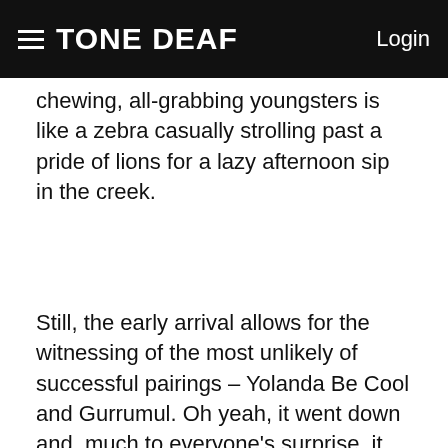TONE DEAF   Login
chewing, all-grabbing youngsters is like a zebra casually strolling past a pride of lions for a lazy afternoon sip in the creek.
Still, the early arrival allows for the witnessing of the most unlikely of successful pairings – Yolanda Be Cool and Gurrumul. Oh yeah, it went down and, much to everyone's surprise, it went down pretty well.